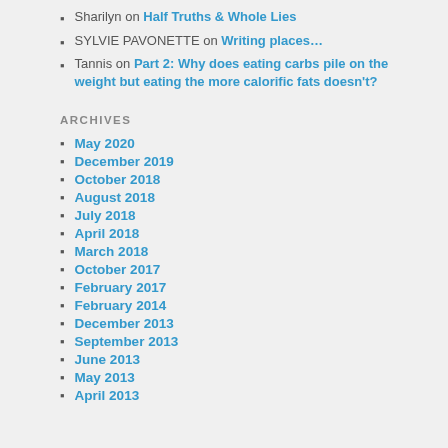Sharilyn on Half Truths & Whole Lies
SYLVIE PAVONETTE on Writing places…
Tannis on Part 2: Why does eating carbs pile on the weight but eating the more calorific fats doesn't?
ARCHIVES
May 2020
December 2019
October 2018
August 2018
July 2018
April 2018
March 2018
October 2017
February 2017
February 2014
December 2013
September 2013
June 2013
May 2013
April 2013